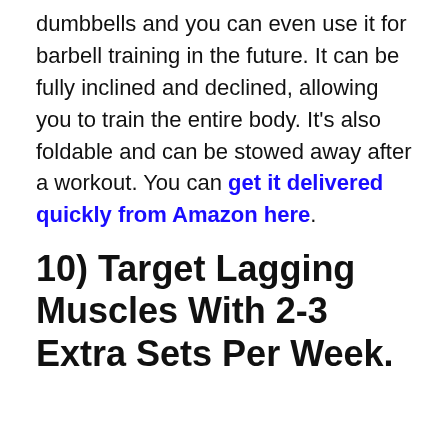dumbbells and you can even use it for barbell training in the future. It can be fully inclined and declined, allowing you to train the entire body. It's also foldable and can be stowed away after a workout. You can get it delivered quickly from Amazon here.
10) Target Lagging Muscles With 2-3 Extra Sets Per Week.